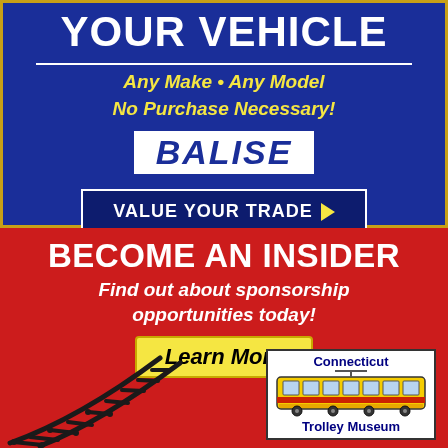[Figure (advertisement): Balise auto dealership ad on blue background. Text: YOUR VEHICLE, Any Make • Any Model, No Purchase Necessary!, BALISE, VALUE YOUR TRADE with right-pointing arrow.]
[Figure (advertisement): Connecticut Trolley Museum insider sponsorship ad on red background. Text: BECOME AN INSIDER, Find out about sponsorship opportunities today!, Learn More button, trolley track illustration, Connecticut Trolley Museum logo with yellow trolley car illustration.]